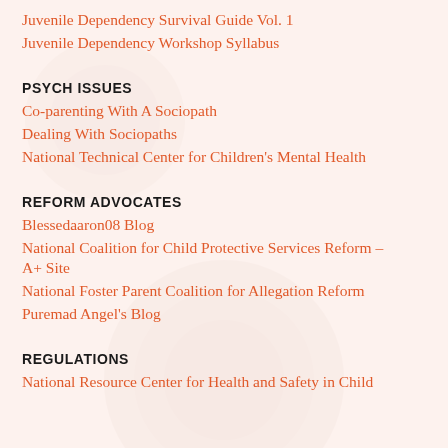Juvenile Dependency Survival Guide Vol. 1
Juvenile Dependency Workshop Syllabus
PSYCH ISSUES
Co-parenting With A Sociopath
Dealing With Sociopaths
National Technical Center for Children's Mental Health
REFORM ADVOCATES
Blessedaaron08 Blog
National Coalition for Child Protective Services Reform – A+ Site
National Foster Parent Coalition for Allegation Reform
Puremad Angel's Blog
REGULATIONS
National Resource Center for Health and Safety in Child